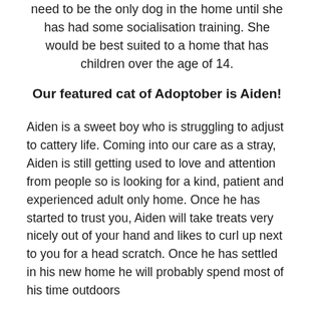need to be the only dog in the home until she has had some socialisation training. She would be best suited to a home that has children over the age of 14.
Our featured cat of Adoptober is Aiden!
Aiden is a sweet boy who is struggling to adjust to cattery life. Coming into our care as a stray, Aiden is still getting used to love and attention from people so is looking for a kind, patient and experienced adult only home. Once he has started to trust you, Aiden will take treats very nicely out of your hand and likes to curl up next to you for a head scratch. Once he has settled in his new home he will probably spend most of his time outdoors